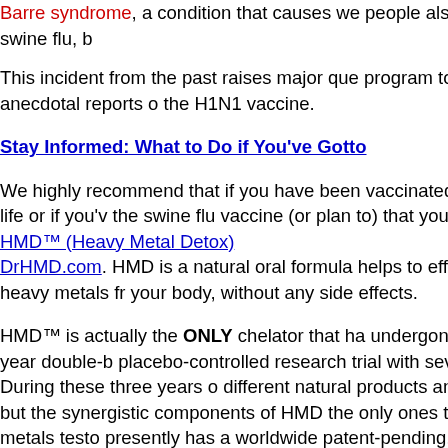Barre syndrome, a condition that causes we... people also died … not from the swine flu, b...
This incident from the past raises major que... program today. Already, anecdotal reports o... the H1N1 vaccine.
Stay Informed: What to Do if You've Gott...
We highly recommend that if you have been vaccinated at any time in your life or if you'v... the swine flu vaccine (or plan to) that you take to detox using HMD™ (Heavy Metal Detox) DrHMD.com. HMD is a natural oral formula... helps to effectively eliminate heavy metals f... your body, without any side effects.
HMD™ is actually the ONLY chelator that ha... undergone a $1 million, three-year double-b... placebo-controlled research trial with severa... hundred people! During these three years o... different natural products and combinations tried but the synergistic components of HMD... the only ones that worked for all metals testo... presently has a worldwide patent-pending.
Dr. George John Georgiou -- HMD™ Invento... worldwide Patent Holder -- has a Bachelor o... Science honors degree in Biology/Psycholo... Oxford Brook's University, Oxford, England. Master's of Science degree in Clinical Psych...